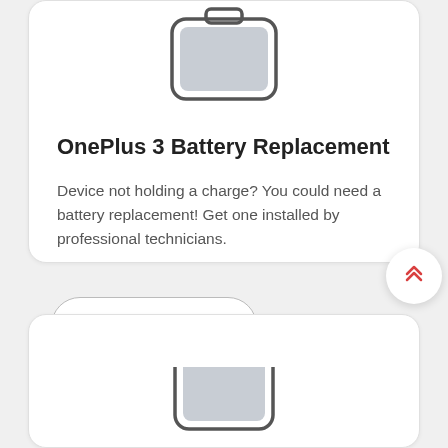[Figure (illustration): Partial battery icon at top of first product card, shown cropped at top edge]
OnePlus 3 Battery Replacement
Device not holding a charge? You could need a battery replacement! Get one installed by professional technicians.
View Product
[Figure (illustration): Scroll to top button with double chevron/arrow up icon in red/coral color]
[Figure (illustration): Partial battery icon at top of second product card, shown cropped at bottom edge of page]